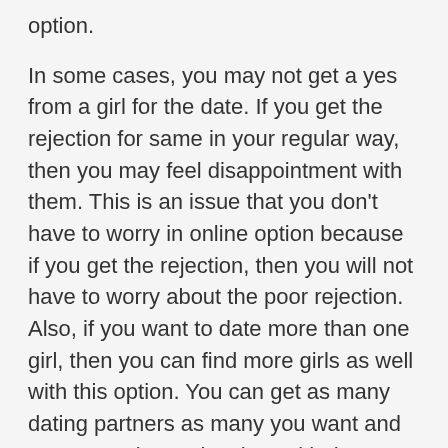option.
In some cases, you may not get a yes from a girl for the date. If you get the rejection for same in your regular way, then you may feel disappointment with them. This is an issue that you don't have to worry in online option because if you get the rejection, then you will not have to worry about the poor rejection. Also, if you want to date more than one girl, then you can find more girls as well with this option. You can get as many dating partners as many you want and you can enjoy a nice time with them easily. So, I would say this is definitely a great method of finding hot and beautiful girls as your partner for the date via web.
Above I said web as the second best option to find a dating partner and that is why you might be wondering about the best option for same. Talking about the best option, I would name escorts services as the best option for same. I give higher rating and value to